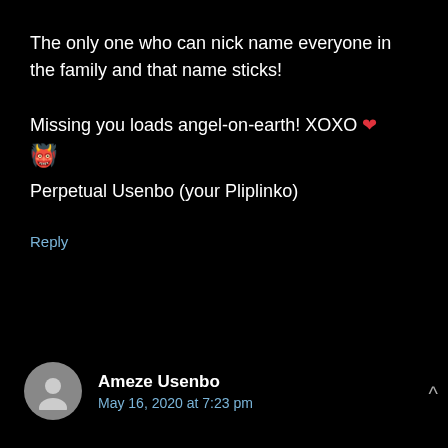The only one who can nick name everyone in the family and that name sticks!

Missing you loads angel-on-earth! XOXO ❤ 👼
Perpetual Usenbo (your Pliplinko)
Reply
Ameze Usenbo
May 16, 2020 at 7:23 pm